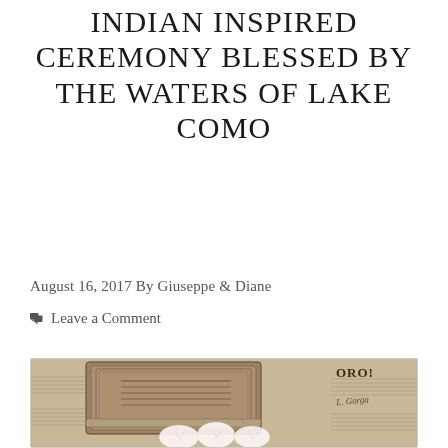INDIAN INSPIRED CEREMONY BLESSED BY THE WATERS OF LAKE COMO
August 16, 2017 By Giuseppe & Diane
Leave a Comment
[Figure (photo): An antique book or ornate box with aged paper/sheet music in the background and white crystal stones arranged in front of the box, all resting on vintage musical score sheets.]